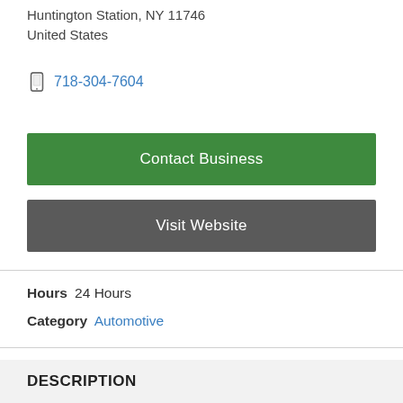Huntington Station, NY 11746
United States
718-304-7604
Contact Business
Visit Website
Hours  24 Hours
Category  Automotive
DESCRIPTION